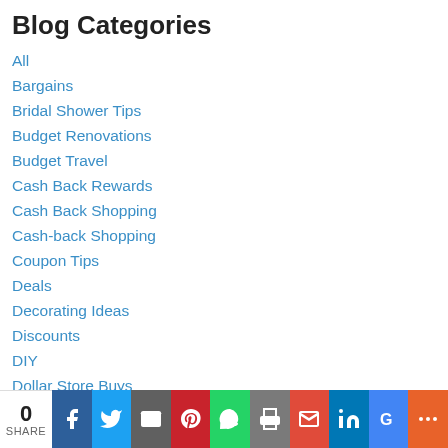Blog Categories
All
Bargains
Bridal Shower Tips
Budget Renovations
Budget Travel
Cash Back Rewards
Cash Back Shopping
Cash-back Shopping
Coupon Tips
Deals
Decorating Ideas
Discounts
DIY
Dollar Store Buys
Earn Money
Freebies
Free Money
[Figure (infographic): Social share bar with count 0 SHARE and buttons: Facebook, Twitter, Email, Pinterest, WhatsApp, Print, Gmail, LinkedIn, Google+, More]